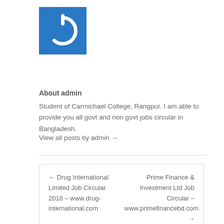[Figure (logo): Blue square logo with white power/on button icon]
About admin
Student of Carmichael College, Rangpur. I am able to provide you all govt and non govt jobs circular in Bangladesh.
View all posts by admin →
← Drug International Limited Job Circular 2018 – www.drug-international.com
Prime Finance & Investment Ltd Job Circular – www.primefinancebd.com →